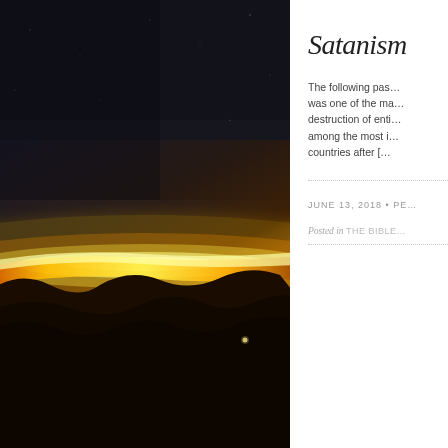[Figure (illustration): Digital illustration of a fiery, volcanic alien planet surface seen at a dramatic low angle, with glowing lava, dark rocky terrain, and a bright golden atmospheric glow on the horizon against a dark space background.]
Satanism
The following pas… was one of the ma… destruction of enti… among the most i… countries after […
JUNE 13, 2018 • PE…
Posted in THE BIBLE…